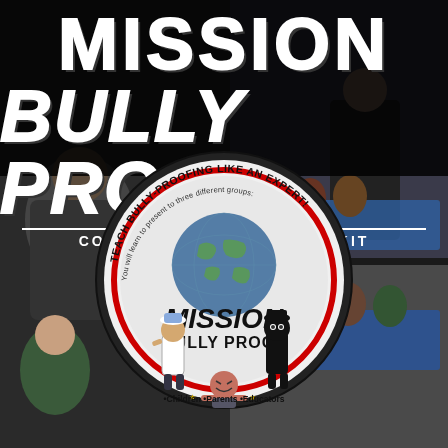[Figure (photo): Collage of martial arts instructor teaching children bully-proofing techniques in a gym setting, with photos of adults presenting to groups of children]
MISSION BULLY PROOF
COMPLETE PRESENTATION KIT
[Figure (logo): Circular badge logo with text 'TEACH BULLY-PROOFING LIKE AN EXPERT! You will learn to present to three different groups:' around the border, globe graphic in center, cartoon characters of a boy in white, a ninja villain, and a bully, with 'MISSION BULLY PROOF' text inside and '•Children •Parents •Educators' at the bottom]